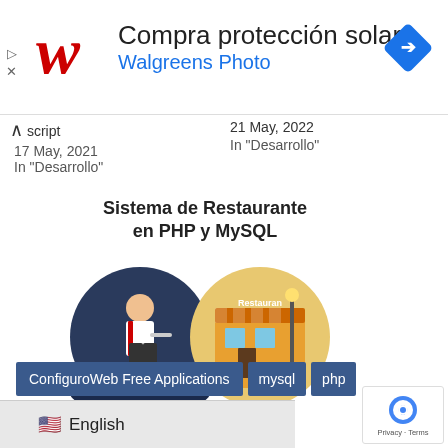[Figure (other): Walgreens advertisement banner with Walgreens red cursive W logo, text 'Compra protección solar' and 'Walgreens Photo', with a blue navigation arrow icon on the right]
script
17 May, 2021
In "Desarrollo"
21 May, 2022
In "Desarrollo"
Sistema de Restaurante en PHP y MySQL
[Figure (illustration): Restaurant system illustration showing two circular images: one of a chef/waiter and another of a restaurant building]
Restaurant System in PHP and MySQL
13 July, 2022
In "Desarrollo"
ConfiguroWeb Free Applications  mysql  php
🇺🇸 English